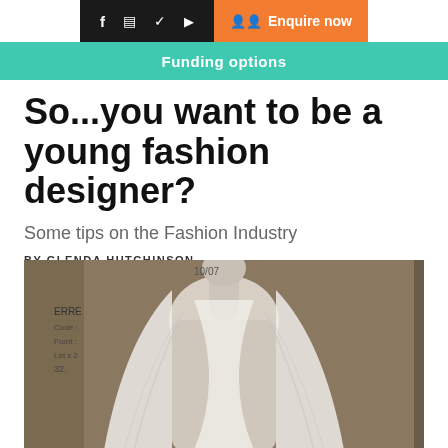f  📷  🐦  ▶   Enquire now
Funding options
So...you want to be a young fashion designer?
Some tips on the Fashion Industry
BY GLENDA HUTCHINSON
[Figure (photo): A dress form/mannequin with white sheer fabric draped over it, shown from the torso up, in what appears to be a fashion design studio. A label on the left reads 'ERRE' with additional handwritten notes.]